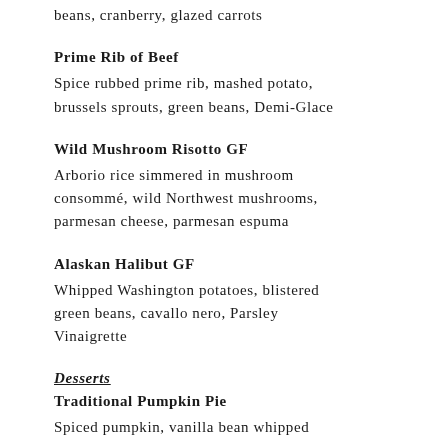beans, cranberry, glazed carrots
Prime Rib of Beef
Spice rubbed prime rib, mashed potato, brussels sprouts, green beans, Demi-Glace
Wild Mushroom Risotto GF
Arborio rice simmered in mushroom consommé, wild Northwest mushrooms, parmesan cheese, parmesan espuma
Alaskan Halibut GF
Whipped Washington potatoes, blistered green beans, cavallo nero, Parsley Vinaigrette
Desserts
Traditional Pumpkin Pie
Spiced pumpkin, vanilla bean whipped